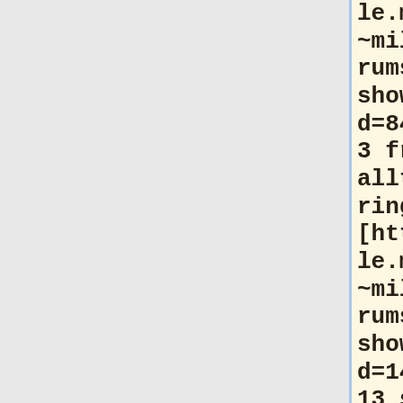le.msoe.edu/~millerni/forums.php?show=topic&id=84&forum=13 free alltel ringtones] [http://people.msoe.edu/~millerni/forums.php?show=topic&id=141&forum=13 soma online] [http://people.msoe.edu/~millerni/forums.php?show=topic&id=107&forum=